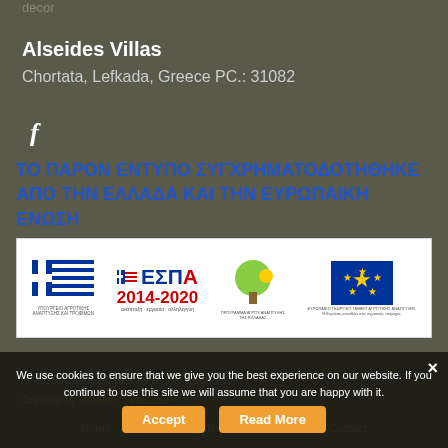decor
Alseides Villas
Chortata, Lefkada, Greece PC.: 31082
[Figure (logo): Facebook icon (f)]
ΤΟ ΠΑΡΟΝ ΕΝΤΥΠΟ ΣΥΓΧΡΗΜΑΤΟΔΟΤΗΘΗΚΕ ΑΠΟ ΤΗΝ ΕΛΛΑΔΑ ΚΑΙ ΤΗΝ ΕΥΡΩΠΑΙΚΗ ΕΝΩΣΗ
[Figure (infographic): ΕΣΠΑ 2014-2020 banner with Greek Ministry of Agriculture logo, ΕΣΠΑ logo, ΟΠΑΑΧ logo, and European Agricultural Fund for Rural Development EU logo]
© 2015 Alseides Villas. All Rights Reserved.
Created by Create myWebsite
Home   Accommodation   Reservations   Lefkada   Contact
We use cookies to ensure that we give you the best experience on our website. If you continue to use this site we will assume that you are happy with it.